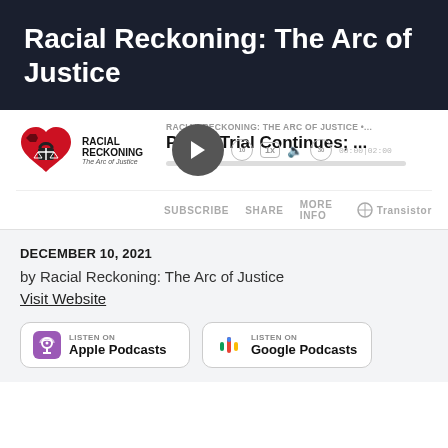Racial Reckoning: The Arc of Justice
[Figure (screenshot): Podcast audio player widget showing episode 'Potter Trial Continues; ...' from Racial Reckoning: The Arc of Justice podcast, with play button, progress bar, speed control, volume, and time display 00:00|02:00]
DECEMBER 10, 2021
by Racial Reckoning: The Arc of Justice
Visit Website
[Figure (logo): Apple Podcasts listen button badge]
[Figure (logo): Google Podcasts listen button badge]